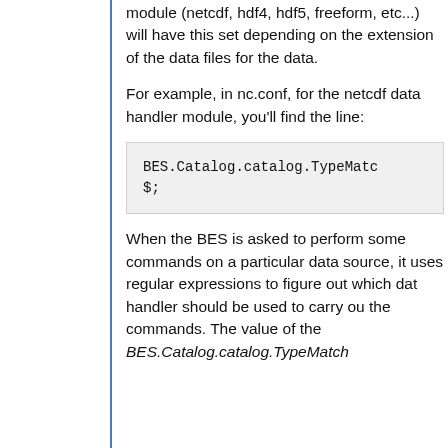module (netcdf, hdf4, hdf5, freeform, etc...) will have this set depending on the extension of the data files for the data.
For example, in nc.conf, for the netcdf data handler module, you'll find the line:
BES.Catalog.catalog.TypeMatc
$;
When the BES is asked to perform some commands on a particular data source, it uses regular expressions to figure out which data handler should be used to carry out the commands. The value of the BES.Catalog.catalog.TypeMatch